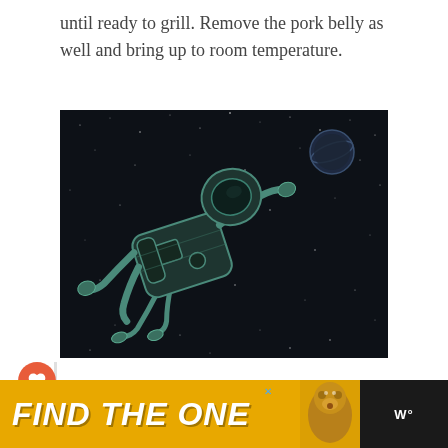until ready to grill. Remove the pork belly as well and bring up to room temperature.
[Figure (illustration): An illustration of an astronaut floating in outer space on a dark starry background, with a planet visible in the upper right. The astronaut is drawn in a sketch/outline style in light teal/white lines against the dark background.]
[Figure (infographic): Advertisement banner: 'FIND THE ONE' in large bold italic white text on a yellow/gold background, with a dog photo on the right side. A close button (x) and a 'W°' logo are also visible.]